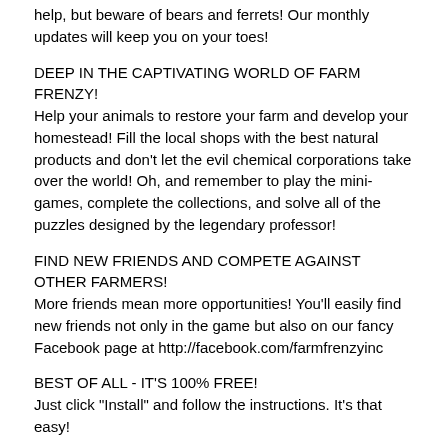help, but beware of bears and ferrets! Our monthly updates will keep you on your toes!
DEEP IN THE CAPTIVATING WORLD OF FARM FRENZY!
Help your animals to restore your farm and develop your homestead! Fill the local shops with the best natural products and don't let the evil chemical corporations take over the world! Oh, and remember to play the mini-games, complete the collections, and solve all of the puzzles designed by the legendary professor!
FIND NEW FRIENDS AND COMPETE AGAINST OTHER FARMERS!
More friends mean more opportunities! You'll easily find new friends not only in the game but also on our fancy Facebook page at http://facebook.com/farmfrenzyinc
BEST OF ALL - IT'S 100% FREE!
Just click "Install" and follow the instructions. It's that easy!
IMPORTANT!
A negative app review will not fix any of the bugs or errors you find! However, your message sent to farmsupport@shpaga-games.com or posted on our Facebook page allows us solve your problem and thank you with a reward!